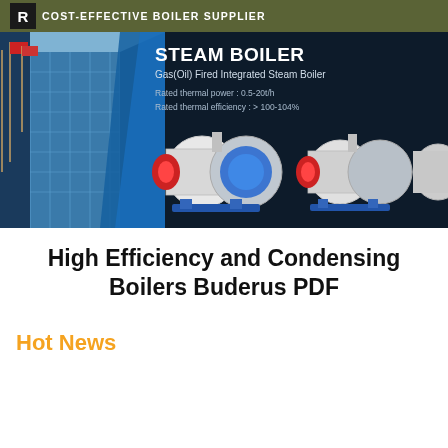COST-EFFECTIVE BOILER SUPPLIER
[Figure (photo): Steam boiler product banner on dark navy background showing three Gas(Oil) Fired Integrated Steam Boiler units with building photo on the left. Text overlay: STEAM BOILER, Gas(Oil) Fired Integrated Steam Boiler, Rated thermal power: 0.5-20t/h, Rated thermal efficiency: > 100-104%]
High Efficiency and Condensing Boilers Buderus PDF
Hot News